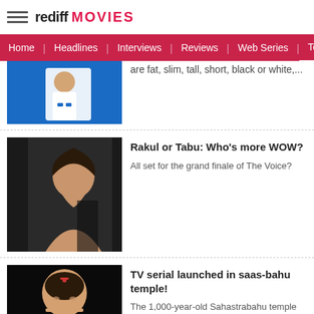rediff MOVIES
Home | Headlines | Interviews | Reviews | Web Series | Tel...
are fat, slim, tall, short, black or white,...
Rakul or Tabu: Who's more WOW?
All set for the grand finale of The Voice?
TV serial launched in saas-bahu temple!
The 1,000-year-old Sahastrabahu temple